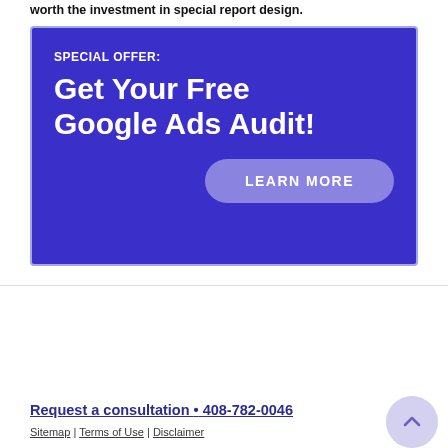worth the investment in special report design.
[Figure (infographic): Dark blue/purple advertisement banner with white text reading 'SPECIAL OFFER: Get Your Free Google Ads Audit!' and a lighter purple rounded button labeled 'LEARN MORE']
Request a consultation • 408-782-0046
Sitemap | Terms of Use | Disclaimer